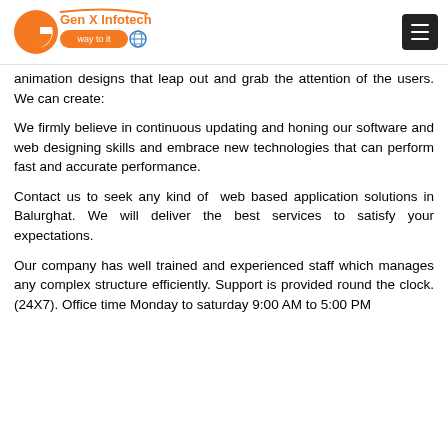Gen X Infotech - way to it
animation designs that leap out and grab the attention of the users. We can create:
We firmly believe in continuous updating and honing our software and web designing skills and embrace new technologies that can perform fast and accurate performance.
Contact us to seek any kind of web based application solutions in Balurghat. We will deliver the best services to satisfy your expectations.
Our company has well trained and experienced staff which manages any complex structure efficiently. Support is provided round the clock. (24X7). Office time Monday to saturday 9:00 AM to 5:00 PM